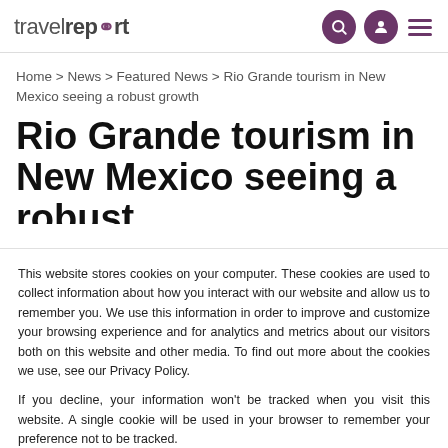travelreport
Home > News > Featured News > Rio Grande tourism in New Mexico seeing a robust growth
Rio Grande tourism in New Mexico seeing a robust
This website stores cookies on your computer. These cookies are used to collect information about how you interact with our website and allow us to remember you. We use this information in order to improve and customize your browsing experience and for analytics and metrics about our visitors both on this website and other media. To find out more about the cookies we use, see our Privacy Policy.
If you decline, your information won't be tracked when you visit this website. A single cookie will be used in your browser to remember your preference not to be tracked.